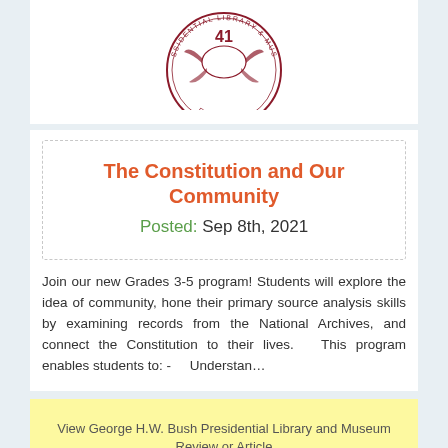[Figure (logo): George H.W. Bush Presidential Library and Museum circular seal with eagle, number 41, top portion visible]
The Constitution and Our Community
Posted: Sep 8th, 2021
Join our new Grades 3-5 program! Students will explore the idea of community, hone their primary source analysis skills by examining records from the National Archives, and connect the Constitution to their lives.   This program enables students to: -      Understan…
View George H.W. Bush Presidential Library and Museum Review or Article
[Figure (logo): George H.W. Bush Presidential Library circular seal, bottom portion visible, partially cropped]